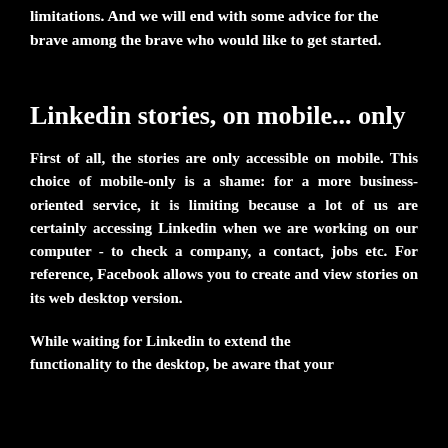limitations. And we will end with some advice for the brave among the brave who would like to get started.
Linkedin stories, on mobile... only
First of all, the stories are only accessible on mobile. This choice of mobile-only is a shame: for a more business-oriented service, it is limiting because a lot of us are certainly accessing Linkedin when we are working on our computer - to check a company, a contact, jobs etc. For reference, Facebook allows you to create and view stories on its web desktop version.
While waiting for Linkedin to extend the functionality to the desktop, be aware that your